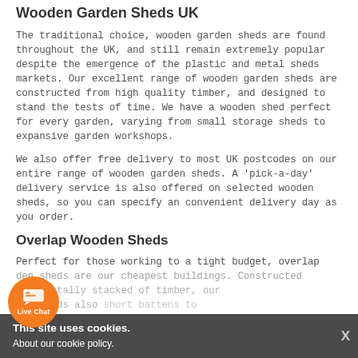Wooden Garden Sheds UK
The traditional choice, wooden garden sheds are found throughout the UK, and still remain extremely popular despite the emergence of the plastic and metal sheds markets. Our excellent range of wooden garden sheds are constructed from high quality timber, and designed to stand the tests of time. We have a wooden shed perfect for every garden, varying from small storage sheds to expansive garden workshops.
We also offer free delivery to most UK postcodes on our entire range of wooden garden sheds. A 'pick-a-day' delivery service is also offered on selected wooden sheds, so you can specify an convenient delivery day as you order.
Overlap Wooden Sheds
Perfect for those working to a tight budget, overlap den sheds are our cheapest buildings. Constructed horizontally stacked of timber, our lap sheds also short battens to
This site uses cookies. About our cookie policy.